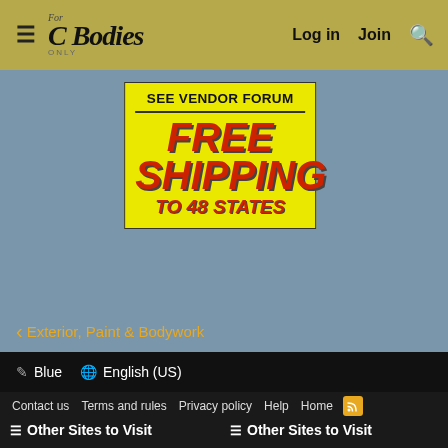For C Bodies Only - Log in | Join
[Figure (infographic): Yellow advertisement banner: SEE VENDOR FORUM / FREE SHIPPING / TO 48 STATES in red italic bold text on yellow background]
< Exterior, Paint & Bodywork
Blue  English (US)
Contact us  Terms and rules  Privacy policy  Help  Home  [RSS]
Other Sites to Visit
Other Sites to Visit
Pickup Truck Forum
Classic RoadRunner Forum
A Body Classic Mopar Forum
Lincoln & Cadillac Forum
B Body Classic Mopar
Car Stereo & Electronics